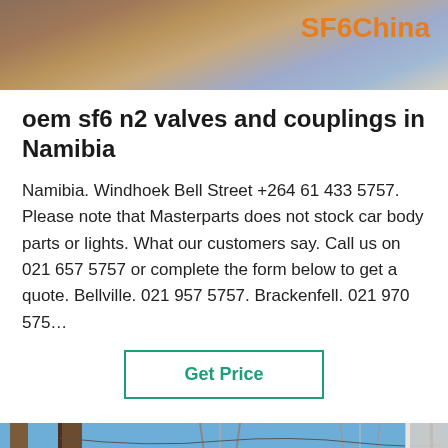[Figure (photo): Top banner photo showing a concrete/building surface, with SF6China logo text in orange on the right side]
oem sf6 n2 valves and couplings in Namibia
Namibia. Windhoek Bell Street +264 61 433 5757. Please note that Masterparts does not stock car body parts or lights. What our customers say. Call us on 021 657 5757 or complete the form below to get a quote. Bellville. 021 957 5757. Brackenfell. 021 970 575…
Get Price
[Figure (photo): Bottom banner photo showing electrical transmission towers and power lines against a blue sky, with a white cylindrical structure on the right. A green scroll-to-top button is visible. A dark bottom bar shows 'Leave Message' on the left and 'Chat Online' on the right, with a customer service avatar in the center.]